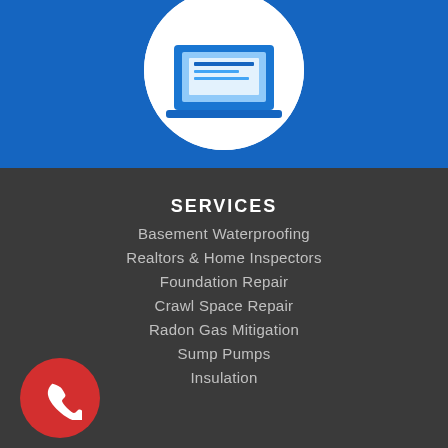[Figure (illustration): Top blue section with a circular white frame containing an illustration (partially visible at top of page)]
SERVICES
Basement Waterproofing
Realtors & Home Inspectors
Foundation Repair
Crawl Space Repair
Radon Gas Mitigation
Sump Pumps
Insulation
[Figure (illustration): Red circular phone icon button in the bottom left corner]